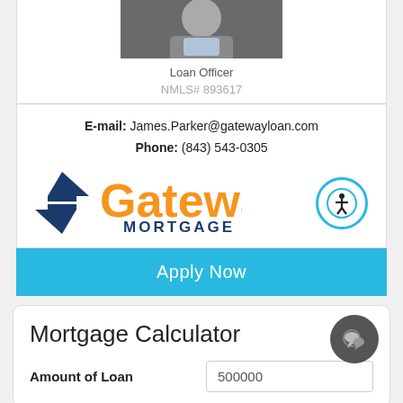[Figure (photo): Partial photo of loan officer (head/shoulders, cropped at top)]
Loan Officer
NMLS# 893617
E-mail: James.Parker@gatewayloan.com
Phone: (843) 543-0305
[Figure (logo): Gateway Mortgage logo with diamond G icon in navy blue and 'Gateway' in orange, 'MORTGAGE' in navy]
Apply Now
Mortgage Calculator
Amount of Loan
500000